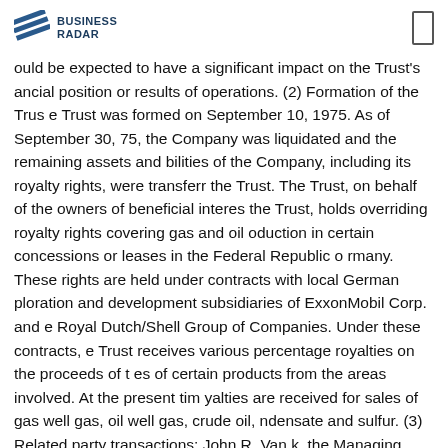BUSINESS RADAR
ould be expected to have a significant impact on the Trust's ancial position or results of operations. (2) Formation of the Trust e Trust was formed on September 10, 1975. As of September 30, 75, the Company was liquidated and the remaining assets and bilities of the Company, including its royalty rights, were transferred the Trust. The Trust, on behalf of the owners of beneficial interest the Trust, holds overriding royalty rights covering gas and oil oduction in certain concessions or leases in the Federal Republic of rmany. These rights are held under contracts with local German ploration and development subsidiaries of ExxonMobil Corp. and e Royal Dutch/Shell Group of Companies. Under these contracts, e Trust receives various percentage royalties on the proceeds of the es of certain products from the areas involved. At the present time, yalties are received for sales of gas well gas, oil well gas, crude oil, ndensate and sulfur. (3) Related party transactions: John R. Van k, the Managing Director of the Trust, provides office services to e Trust at cost. For such office services, the Trust reimbursed the